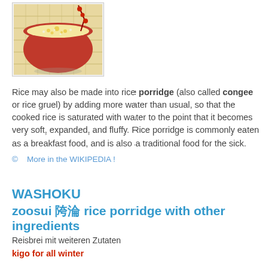[Figure (photo): A red ceramic bowl filled with rice porridge (congee), with a decorative red branch, placed on a woven bamboo mat. The porridge appears yellow-tinted, possibly with corn or pumpkin.]
Rice may also be made into rice porridge (also called congee or rice gruel) by adding more water than usual, so that the cooked rice is saturated with water to the point that it becomes very soft, expanded, and fluffy. Rice porridge is commonly eaten as a breakfast food, and is also a traditional food for the sick.
©   More in the WIKIPEDIA !
WASHOKU
zoosui 雑炊 rice porridge with other ingredients
Reisbrei mit weiteren Zutaten
kigo for all winter